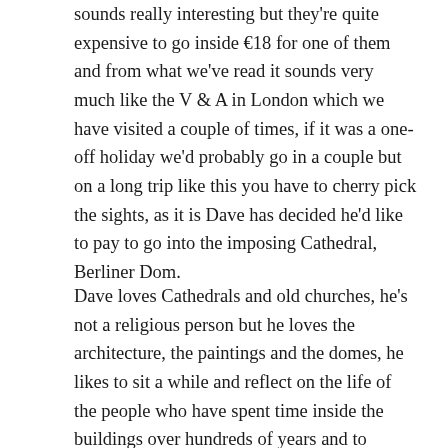sounds really interesting but they're quite expensive to go inside €18 for one of them and from what we've read it sounds very much like the V & A in London which we have visited a couple of times, if it was a one-off holiday we'd probably go in a couple but on a long trip like this you have to cherry pick the sights, as it is Dave has decided he'd like to pay to go into the imposing Cathedral, Berliner Dom.
Dave loves Cathedrals and old churches, he's not a religious person but he loves the architecture, the paintings and the domes, he likes to sit a while and reflect on the life of the people who have spent time inside the buildings over hundreds of years and to reflect on his own life and how fortunate he is.